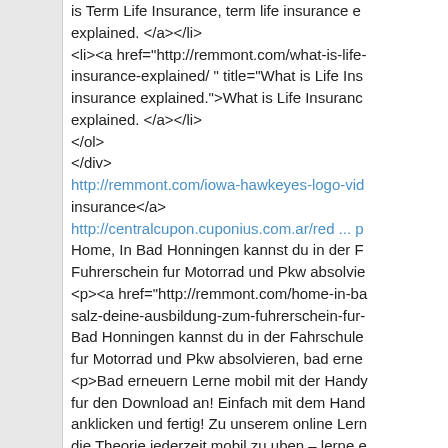is Term Life Insurance, term life insurance explained. </a></li>
<li><a href="http://remmont.com/what-is-life-insurance-explained/ " title="What is Life Insurance insurance explained.">What is Life Insurance explained. </a></li>
</ol>
</div>
http://remmont.com/iowa-hawkeyes-logo-vid insurance</a>
http://centralcupon.cuponius.com.ar/red ... p
Home, In Bad Honningen kannst du in der F Fuhrerschein fur Motorrad und Pkw absolvie
<p><a href="http://remmont.com/home-in-ba salz-deine-ausbildung-zum-fuhrerschein-fur- Bad Honningen kannst du in der Fahrschule fur Motorrad und Pkw absolvieren, bad erne
<p>Bad erneuern Lerne mobil mit der Handy fur den Download an! Einfach mit dem Hand anklicken und fertig! Zu unserem online Lern die Theorie jederzeit mobil zu uben – lerne e Smartphone und Tablet synchronisiert sich a CHECKLISTE . Was brauchst du fur die Ann Unterschrift, alle unter 18 Jahren benotigen <p>REMMONT.COM Russia News - Syria N